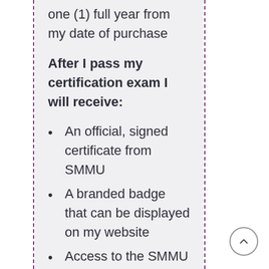one (1) full year from my date of purchase
After I pass my certification exam I will receive:
An official, signed certificate from SMMU
A branded badge that can be displayed on my website
Access to the SMMU Alumni